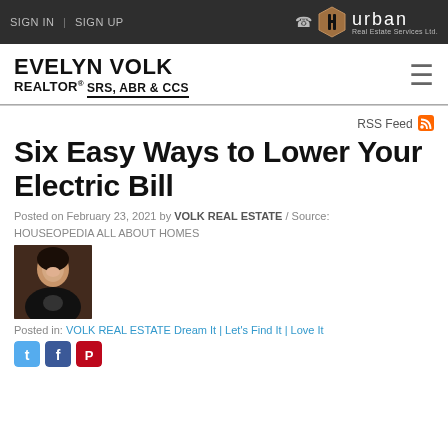SIGN IN | SIGN UP  [phone icon] Urban Real Estate Services Ltd.
EVELYN VOLK REALTOR® SRS, ABR & CCS
RSS Feed
Six Easy Ways to Lower Your Electric Bill
Posted on February 23, 2021 by VOLK REAL ESTATE / Source: HOUSEOPEDIA ALL ABOUT HOMES
[Figure (photo): Headshot photo of a smiling woman in a dark blazer]
Posted in: VOLK REAL ESTATE Dream It | Let's Find It | Love It